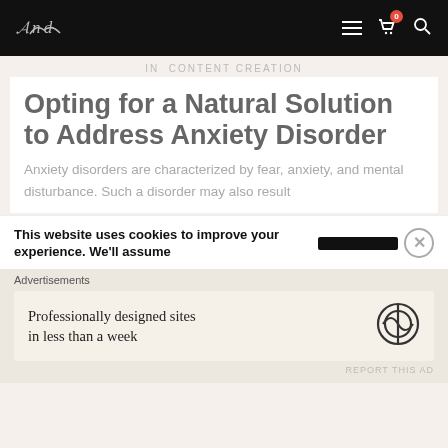Navigation bar with logo, hamburger menu, cart icon (badge: 0), and search icon
In  Content Creation
Opting for a Natural Solution to Address Anxiety Disorder
Anxiety disorders are characterized by fear, anxiety, and mental disturbance. Such a disorder may also result
This website uses cookies to improve your experience. We'll assume
Advertisements
Professionally designed sites in less than a week
REPORT THIS AD